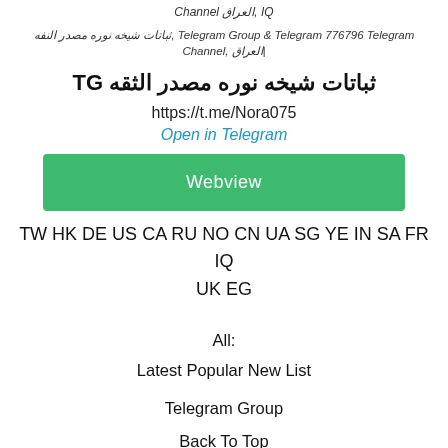Channel العراق, IQ
ثباتات شيخه نوره مصدر النفه, Telegram Group & Telegram 776796 Telegram Channel, العراق|
ثباتات شيخه نوره مصدر الثقه TG
https://t.me/Nora075
Open in Telegram
Webview
TW HK DE US CA RU NO CN UA SG YE IN SA FR IQ UK EG
All:
Latest Popular New List
Telegram Group
Back To Top